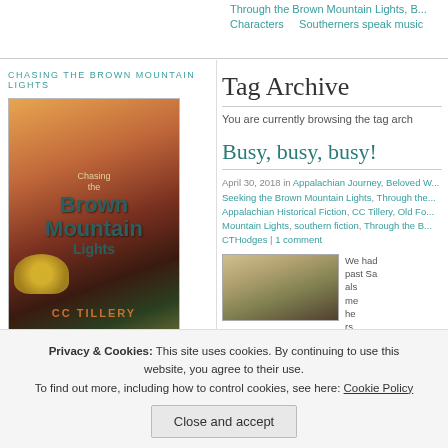Through the Brown Mountain Lights, B... Characters   Southerners speak music
CHASING THE BROWN MOUNTAIN LIGHTS
[Figure (photo): Book cover for 'Chasing the Brown Mountain Lights' by CC Tillery, featuring a dramatic mountain landscape at sunset with yellow flowers and teal title text]
Tag Archive
You are currently browsing the tag arch
Busy, busy, busy!
April 30, 2018 in Appalachian Journey, Beloved W... Seeking the Brown Mountain Lights, Through the... Appalachian Historical Fiction, CC Tillery, Old Fo... Mountain Lights, southern fiction, Through the B... CTHodges | 1 comment
[Figure (photo): Thumbnail landscape photo showing mountains in muted golden-brown tones]
We had past Sa als me he rs th d is
[Figure (photo): Small book cover image at bottom of sidebar showing 'Lights' text in teal]
Privacy & Cookies: This site uses cookies. By continuing to use this website, you agree to their use.
To find out more, including how to control cookies, see here: Cookie Policy
Close and accept